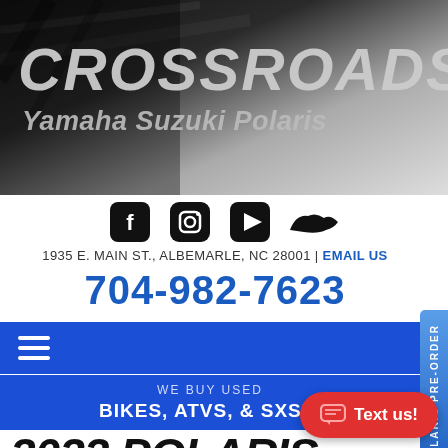[Figure (logo): Crossroads Yamaha Suzuki Polaris dealer logo with grunge/dirt background texture]
[Figure (illustration): Social media icons: Facebook, Instagram, YouTube, and a jet ski silhouette]
1935 E. MAIN ST., ALBEMARLE, NC 28001 | EMAIL US
704-982-7623
[Figure (other): Navigation hamburger menu icon on blue bar]
WE BUY USED
BIKES, ATVS, & SXS'S
2022 POLARIS OUTLAW 110 EFI
New ATVs • Youth
[Figure (other): POLARIS PRE-ORDER blue side tab]
[Figure (other): Text us! red button with chat icon]